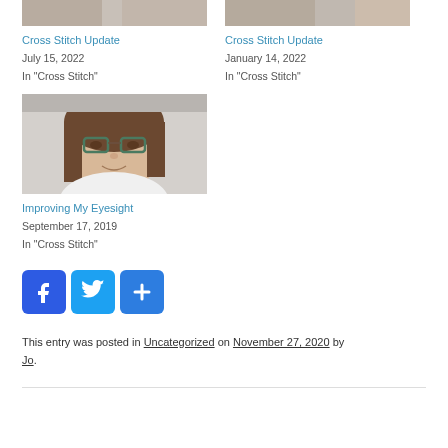[Figure (photo): Thumbnail image of cross stitch work (top, partially visible)]
Cross Stitch Update
July 15, 2022
In "Cross Stitch"
[Figure (photo): Thumbnail image of cross stitch work (top, partially visible)]
Cross Stitch Update
January 14, 2022
In "Cross Stitch"
[Figure (photo): Photo of a woman with glasses, brown hair, smiling]
Improving My Eyesight
September 17, 2019
In "Cross Stitch"
[Figure (infographic): Social sharing buttons: Facebook, Twitter, Share (plus icon)]
This entry was posted in Uncategorized on November 27, 2020 by Jo.